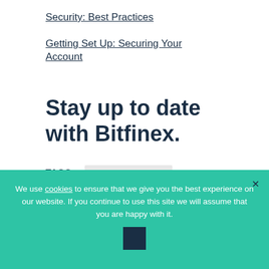Security: Best Practices
Getting Set Up: Securing Your Account
Stay up to date with Bitfinex.
TAGS: ANNOUNCEMENT
We use cookies to ensure that we give you the best experience on our website. If you continue to use this site we will assume that you are happy with it.